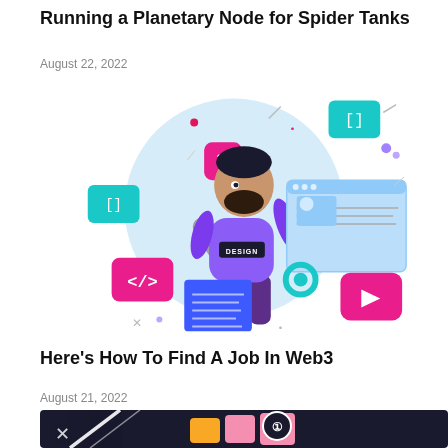Running a Planetary Node for Spider Tanks
August 22, 2022
[Figure (illustration): Illustrated man with beard in purple hoodie labeled DESIGN, surrounded by coding and design icons: brackets [], X button, wrench, code tags </>, code document, gear, video play button, and a browser window. Light blue circular background.]
Here’s How To Find A Job In Web3
August 21, 2022
[Figure (illustration): Partial view of a dark background illustration with colorful geometric blocks and a circular number badge, with an X mark and diagonal white lines.]